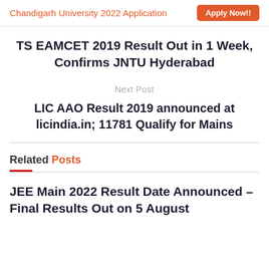Chandigarh University 2022 Application  Apply Now!!
TS EAMCET 2019 Result Out in 1 Week, Confirms JNTU Hyderabad
Next Post
LIC AAO Result 2019 announced at licindia.in; 11781 Qualify for Mains
Related Posts
JEE Main 2022 Result Date Announced – Final Results Out on 5 August